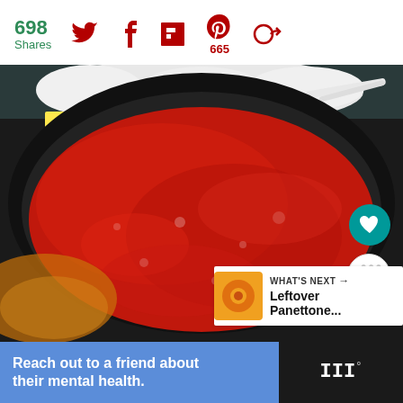698 Shares | Twitter | Facebook | Flipboard | Pinterest 665 | Share
[Figure (photo): A deep dish pizza in a black pan with thick red tomato sauce on top, with white mozzarella cheese or dough visible at the back, seen from above. Overlaid UI elements include a heart button (teal), a share button (white), and a 'WHAT'S NEXT' card showing Leftover Panettone...]
WHAT'S NEXT → Leftover Panettone...
Reach out to a friend about their mental health.